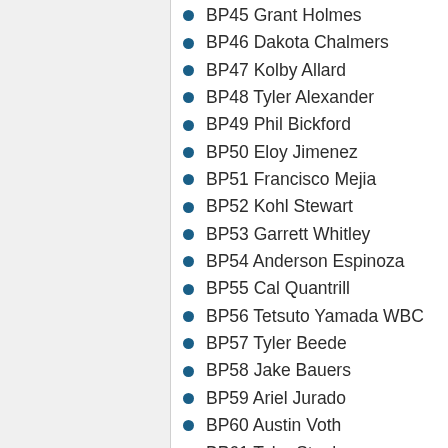BP45 Grant Holmes
BP46 Dakota Chalmers
BP47 Kolby Allard
BP48 Tyler Alexander
BP49 Phil Bickford
BP50 Eloy Jimenez
BP51 Francisco Mejia
BP52 Kohl Stewart
BP53 Garrett Whitley
BP54 Anderson Espinoza
BP55 Cal Quantrill
BP56 Tetsuto Yamada WBC
BP57 Tyler Beede
BP58 Jake Bauers
BP59 Ariel Jurado
BP60 Austin Voth
BP61 Tyler Stephenson
BP62 Yoshitomo Tsutsugo WBC
BP63 Dominic Smith